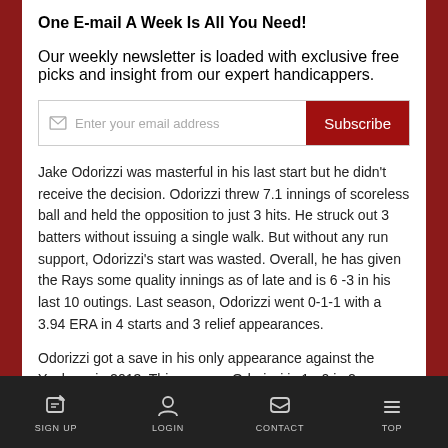One E-mail A Week Is All You Need!
Our weekly newsletter is loaded with exclusive free picks and insight from our expert handicappers.
Jake Odorizzi was masterful in his last start but he didn't receive the decision. Odorizzi threw 7.1 innings of scoreless ball and held the opposition to just 3 hits. He struck out 3 batters without issuing a single walk. But without any run support, Odorizzi's start was wasted. Overall, he has given the Rays some quality innings as of late and is 6 -3 in his last 10 outings. Last season, Odorizzi went 0-1-1 with a 3.94 ERA in 4 starts and 3 relief appearances.
Odorizzi got a save in his only appearance against the Yankees in 2013. This season, Odorizzi is 1 - 0 in 2
SIGN UP  LOGIN  CONTACT  TOP